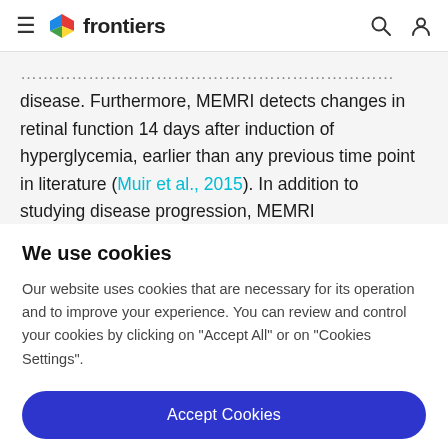frontiers
disease. Furthermore, MEMRI detects changes in retinal function 14 days after induction of hyperglycemia, earlier than any previous time point in literature (Muir et al., 2015). In addition to studying disease progression, MEMRI
We use cookies
Our website uses cookies that are necessary for its operation and to improve your experience. You can review and control your cookies by clicking on "Accept All" or on "Cookies Settings".
Accept Cookies
Cookies Settings